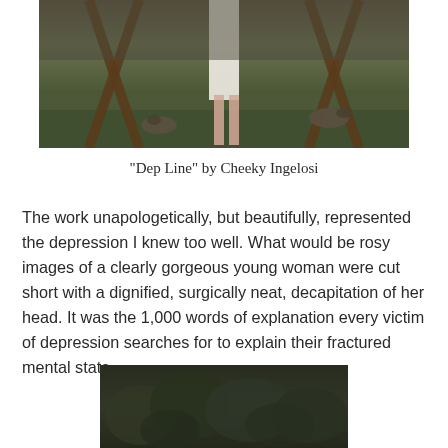[Figure (photo): Outdoor photograph showing legs of a person in a white dress walking barefoot on grass, with wooden fence posts forming an X shape, and birds (geese or ducks) in the foreground on grass.]
“Dep Line” by Cheeky Ingelosi
The work unapologetically, but beautifully, represented the depression I knew too well.  What would be rosy images of a clearly gorgeous young woman were cut short with a dignified, surgically neat, decapitation of her head.  It was the 1,000 words of explanation every victim of depression searches for to explain their fractured mental state.
[Figure (photo): Dark outdoor photograph showing dense foliage or treetops in a dark green/brown color against a dark background.]